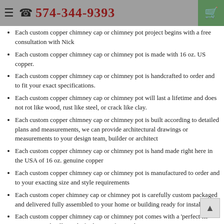☎ 574-344-9393
Each custom copper chimney cap or chimney pot project begins with a free consultation with Nick
Each custom copper chimney cap or chimney pot is made with 16 oz. US copper.
Each custom copper chimney cap or chimney pot is handcrafted to order and to fit your exact specifications.
Each custom copper chimney cap or chimney pot will last a lifetime and does not rot like wood, rust like steel, or crack like clay.
Each custom copper chimney cap or chimney pot is built according to detailed plans and measurements, we can provide architectural drawings or measurements to your design team, builder or architect
Each custom copper chimney cap or chimney pot is hand made right here in the USA of 16 oz. genuine copper
Each custom copper chimney cap or chimney pot is manufactured to order and to your exacting size and style requirements
Each custom coper chimney cap or chimney pot is carefully custom packaged and delivered fully assembled to your home or building ready for installation
Each custom copper chimney cap or chimney pot comes with a 'perfect fit' guarantee and will snugly fit the top of your chimney